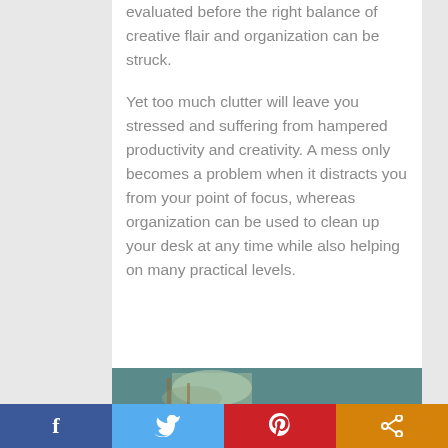evaluated before the right balance of creative flair and organization can be struck.
Yet too much clutter will leave you stressed and suffering from hampered productivity and creativity. A mess only becomes a problem when it distracts you from your point of focus, whereas organization can be used to clean up your desk at any time while also helping on many practical levels.
[Figure (photo): Partial photo visible at bottom of page showing what appears to be a plant/flowers on a desk with a teal/grey background]
[Figure (infographic): Social sharing bar with four buttons: Facebook (blue), Twitter (light blue), Pinterest (red), Share (orange)]